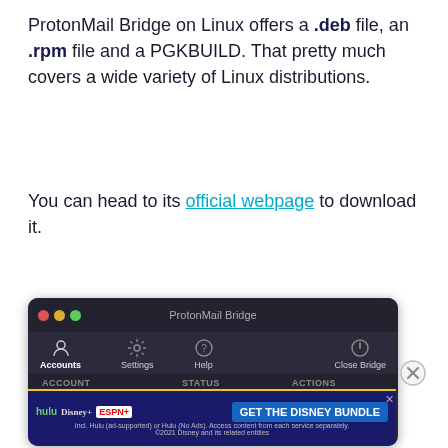ProtonMail Bridge on Linux offers a .deb file, an .rpm file and a PGKBUILD. That pretty much covers a wide variety of Linux distributions.
You can head to its official webpage to download it.
[Figure (screenshot): Screenshot of ProtonMail Bridge application window on Linux, showing the dark-themed UI with Accounts, Settings, Help tabs and a Close Bridge button. Columns for ACCOUNT, STATUS, ACTIONS are visible. An ad overlay for the Disney Bundle (Hulu, Disney+, ESPN+) appears at the bottom.]